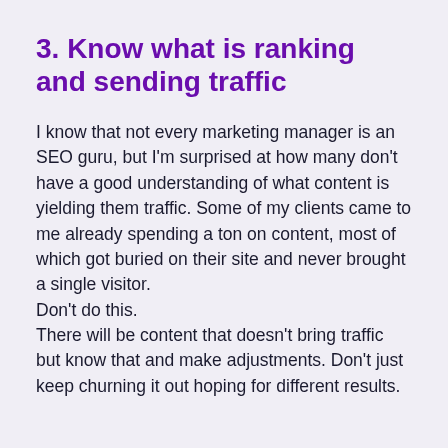3. Know what is ranking and sending traffic
I know that not every marketing manager is an SEO guru, but I'm surprised at how many don't have a good understanding of what content is yielding them traffic. Some of my clients came to me already spending a ton on content, most of which got buried on their site and never brought a single visitor.
Don't do this.
There will be content that doesn't bring traffic but know that and make adjustments. Don't just keep churning it out hoping for different results.